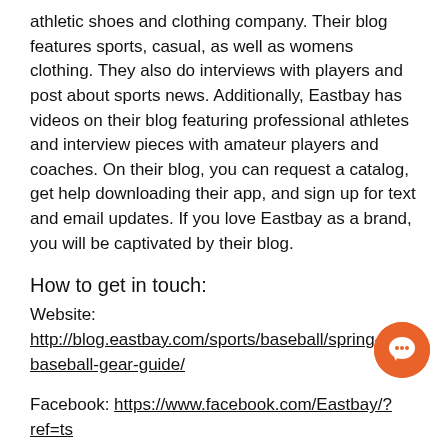athletic shoes and clothing company. Their blog features sports, casual, as well as womens clothing. They also do interviews with players and post about sports news. Additionally, Eastbay has videos on their blog featuring professional athletes and interview pieces with amateur players and coaches. On their blog, you can request a catalog, get help downloading their app, and sign up for text and email updates. If you love Eastbay as a brand, you will be captivated by their blog.
How to get in touch:
Website: http://blog.eastbay.com/sports/baseball/spring-baseball-gear-guide/
Facebook: https://www.facebook.com/Eastbay/?ref=ts